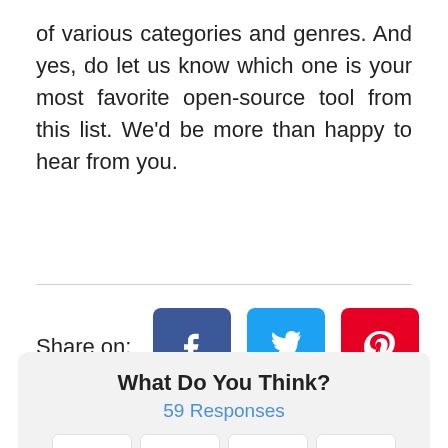of various categories and genres. And yes, do let us know which one is your most favorite open-source tool from this list. We'd be more than happy to hear from you.
Share on:
[Figure (infographic): Social share buttons: Facebook (blue), Twitter (light blue), Pinterest (red)]
What Do You Think?
59 Responses
[Figure (infographic): Reaction emoji cards: Upvote (thumbs up), Funny (winking tongue emoji), Love (heart eyes emoji), Surprised (surprised face emoji)]